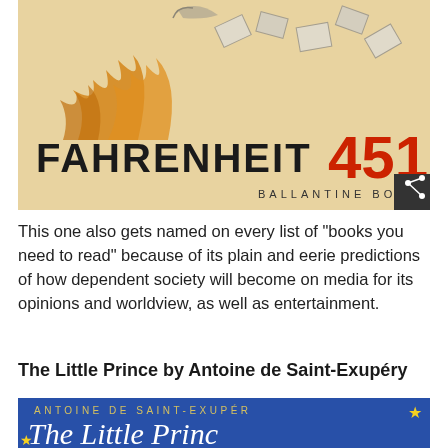[Figure (photo): Book cover of Fahrenheit 451 by Ray Bradbury, Ballantine Books edition. Shows 'FAHRENHEIT' in bold black letters and '451' in large red letters, with a sketch illustration of flames and flying papers at the top.]
This one also gets named on every list of "books you need to read" because of its plain and eerie predictions of how dependent society will become on media for its opinions and worldview, as well as entertainment.
The Little Prince by Antoine de Saint-Exupéry
[Figure (photo): Book cover of The Little Prince by Antoine de Saint-Exupéry on a blue background with yellow stars. Shows 'ANTOINE DE SAINT-EXUPÉR' in gold spaced letters and 'The Little Princ' in large white cursive font.]